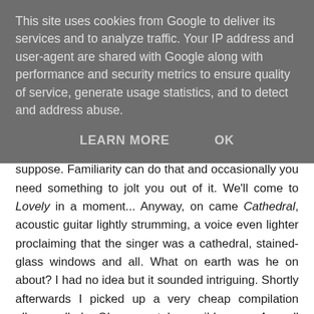This site uses cookies from Google to deliver its services and to analyze traffic. Your IP address and user-agent are shared with Google along with performance and security metrics to ensure quality of service, generate usage statistics, and to detect and address abuse.
LEARN MORE    OK
on the radio that I'd... well, I'd stopped hearing it, I suppose. Familiarity can do that and occasionally you need something to jolt you out of it. We'll come to Lovely in a moment... Anyway, on came Cathedral, acoustic guitar lightly strumming, a voice even lighter proclaiming that the singer was a cathedral, stained-glass windows and all. What on earth was he on about? I had no idea but it sounded intriguing. Shortly afterwards I picked up a very cheap compilation album called... Oh go on, take a wild guess. As well as the ubiquitous title track, it featured Cathedral and a number of other tracks which, as I now know, were mostly drawn from Mr Sarstedt's eponymous debut album. I must admit that at the time it didn't really sink in. I adored Cathedral, yes, and I gradually started to appreciate the